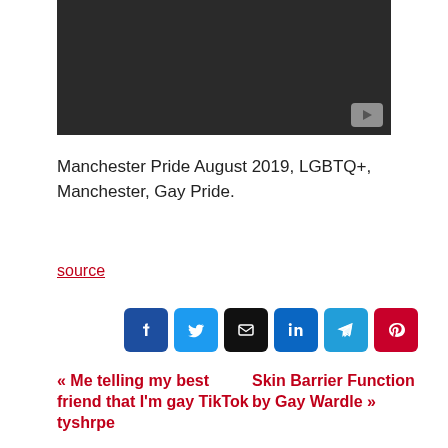[Figure (screenshot): Black video thumbnail with a YouTube-style play button in the bottom-right corner]
Manchester Pride August 2019, LGBTQ+, Manchester, Gay Pride.
source
[Figure (infographic): Row of social share buttons: Facebook, Twitter, Email, LinkedIn, Telegram, Pinterest]
« Me telling my best friend that I'm gay TikTok tyshrpe
Skin Barrier Function by Gay Wardle »